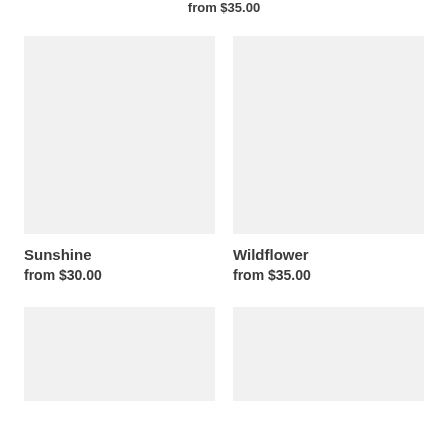from $35.00
[Figure (photo): Product image placeholder for Sunshine - light gray rectangle]
Sunshine
from $30.00
[Figure (photo): Product image placeholder for Wildflower - light gray rectangle]
Wildflower
from $35.00
[Figure (photo): Product image placeholder - light gray rectangle, partially visible]
[Figure (photo): Product image placeholder - light gray rectangle, partially visible]